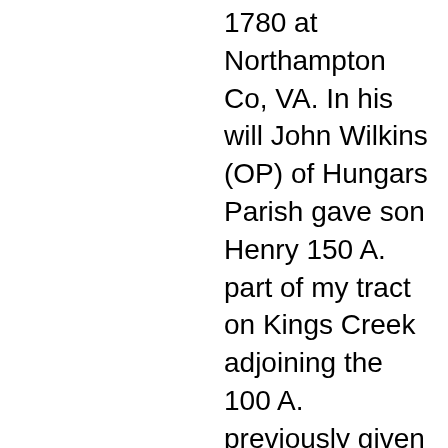1780 at Northampton Co, VA. In his will John Wilkins (OP) of Hungars Parish gave son Henry 150 A. part of my tract on Kings Creek adjoining the 100 A. previously given him by deed of gift bounded by Kings Creek (formerly a line between myself and Major Wilkins), and n. boy Luke. To son Robert the 150 A. remainder of my said Kings Creek plantation, n. boy Charles, Jr., and silver watch. To my (son) Nathaniel 247 A. part of which is my marsh in Old Plantation Creek being part of the tract whereon I now dwell,